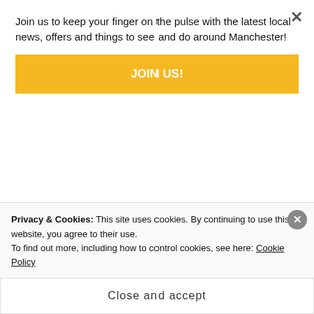Join us to keep your finger on the pulse with the latest local news, offers and things to see and do around Manchester!
JOIN US!
[Figure (other): Two rounded rectangle button placeholders (partially visible at top of like section)]
[Figure (other): Like button with blue star icon and label 'Like', alongside a purple pixel avatar icon]
One blogger likes this.
RELATED
Privacy & Cookies: This site uses cookies. By continuing to use this website, you agree to their use.
To find out more, including how to control cookies, see here: Cookie Policy
Close and accept